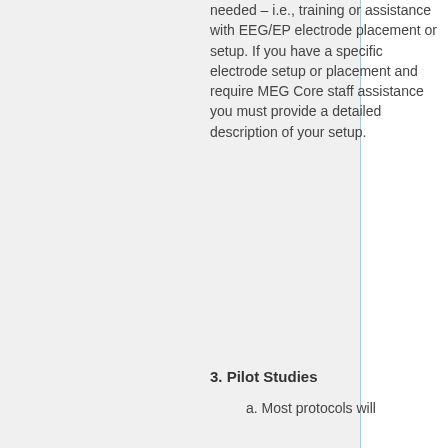needed – i.e., training or assistance with EEG/EP electrode placement or setup. If you have a specific electrode setup or placement and require MEG Core staff assistance you must provide a detailed description of your setup.
3. Pilot Studies
a. Most protocols will